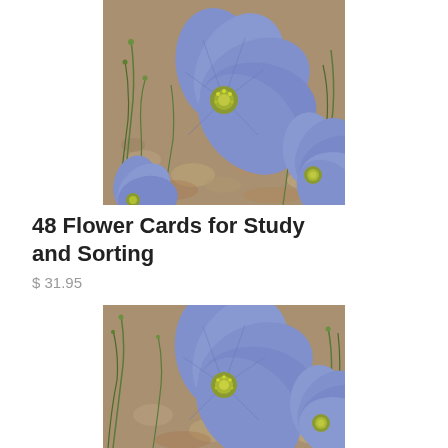[Figure (photo): Close-up photo of blue/purple flax flowers with yellow-green centers, surrounded by green wispy stems, against a rocky/earthy background. Multiple flowers visible.]
48 Flower Cards for Study and Sorting
$ 31.95
[Figure (photo): Close-up photo of blue/purple flax flowers with yellow-green centers, surrounded by green wispy stems, against a rocky/earthy background. Similar view to top image but slightly different angle.]